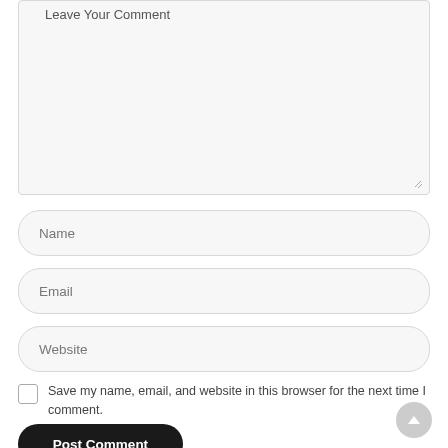Leave Your Comment
Name
Email
Website
Save my name, email, and website in this browser for the next time I comment.
Post Comment